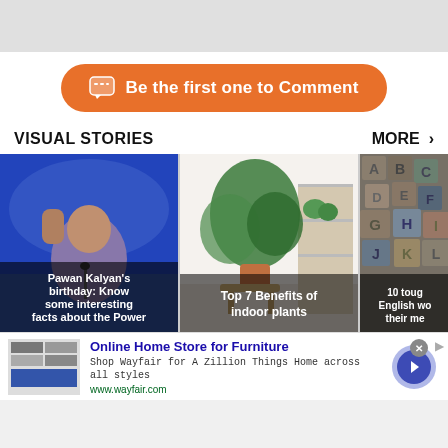[Figure (screenshot): Gray top bar area]
Be the first one to Comment
VISUAL STORIES
MORE >
[Figure (photo): Pawan Kalyan's birthday: Know some interesting facts about the Power]
[Figure (photo): Top 7 Benefits of indoor plants]
[Figure (photo): 10 tough English words and their meanings]
[Figure (screenshot): Advertisement: Online Home Store for Furniture - Wayfair]